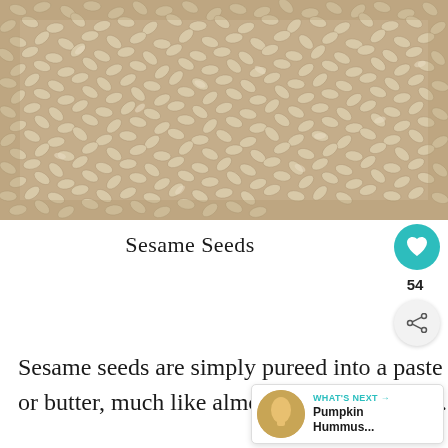[Figure (photo): Close-up photograph of white sesame seeds covering the entire frame, showing the texture of many small oval cream-colored seeds.]
Sesame Seeds
Sesame seeds are simply pureed into a paste or butter, much like almond or peanut butter.